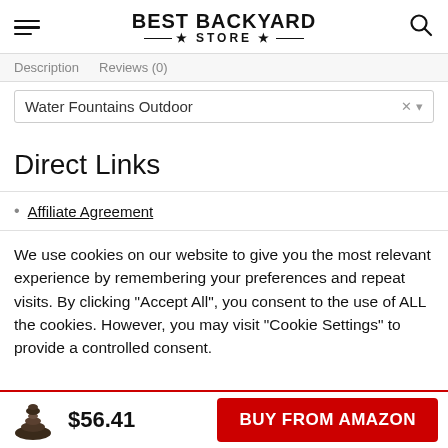BEST BACKYARD STORE
Description  Reviews (0)
Water Fountains Outdoor
Direct Links
Affiliate Agreement
We use cookies on our website to give you the most relevant experience by remembering your preferences and repeat visits. By clicking “Accept All”, you consent to the use of ALL the cookies. However, you may visit “Cookie Settings” to provide a controlled consent.
$56.41  BUY FROM AMAZON